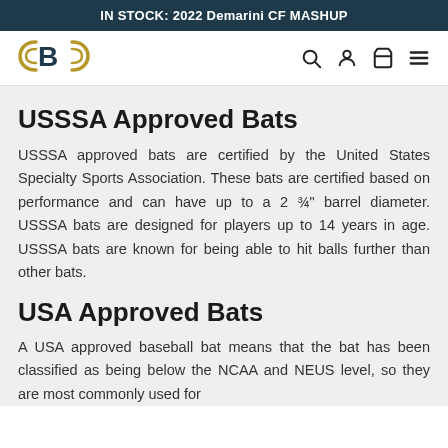IN STOCK: 2022 Demarini CF MASHUP
[Figure (logo): CB logo mark in gold and dark navy]
USSSA Approved Bats
USSSA approved bats are certified by the United States Specialty Sports Association. These bats are certified based on performance and can have up to a 2 ¾" barrel diameter. USSSA bats are designed for players up to 14 years in age. USSSA bats are known for being able to hit balls further than other bats.
USA Approved Bats
A USA approved baseball bat means that the bat has been classified as being below the NCAA and NEUS level, so they are most commonly used for